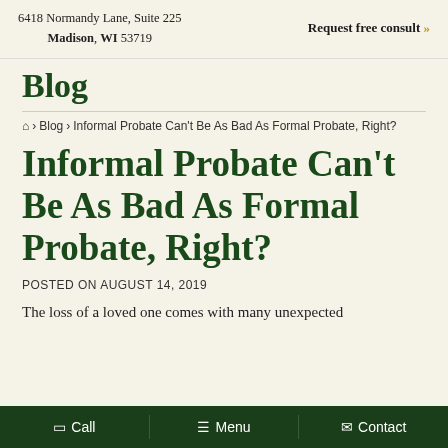6418 Normandy Lane, Suite 225 Madison, WI 53719 | Request free consult »
Blog
🏠 › Blog › Informal Probate Can't Be As Bad As Formal Probate, Right?
Informal Probate Can't Be As Bad As Formal Probate, Right?
POSTED ON AUGUST 14, 2019
The loss of a loved one comes with many unexpected
Call   Menu   Contact